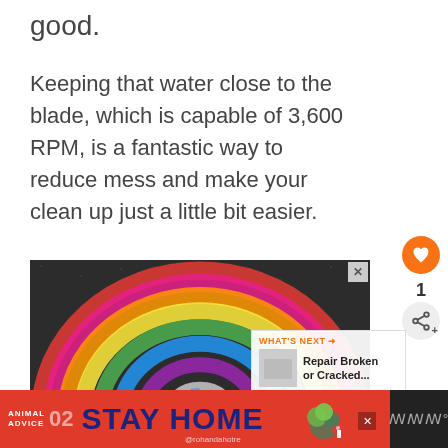good.
Keeping that water close to the blade, which is capable of 3,600 RPM, is a fantastic way to reduce mess and make your clean up just a little bit easier.
[Figure (photo): Chalk rainbow drawing on dark asphalt pavement with chalk sticks placed at the bottom]
[Figure (other): What's Next panel: Repair Broken or Cracked...]
[Figure (infographic): Bottom advertisement banner: Animal Advice 02 STAY HOME @rohandahotre]